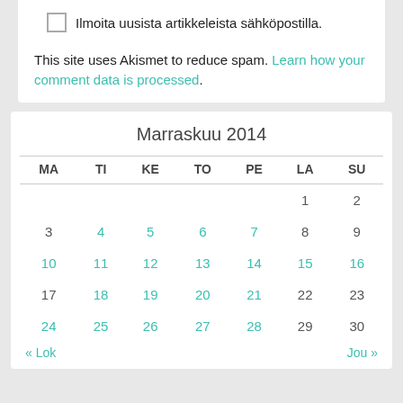Ilmoita uusista artikkeleista sähköpostilla.
This site uses Akismet to reduce spam. Learn how your comment data is processed.
| MA | TI | KE | TO | PE | LA | SU |
| --- | --- | --- | --- | --- | --- | --- |
|  |  |  |  |  | 1 | 2 |
| 3 | 4 | 5 | 6 | 7 | 8 | 9 |
| 10 | 11 | 12 | 13 | 14 | 15 | 16 |
| 17 | 18 | 19 | 20 | 21 | 22 | 23 |
| 24 | 25 | 26 | 27 | 28 | 29 | 30 |
« Lok   Jou »